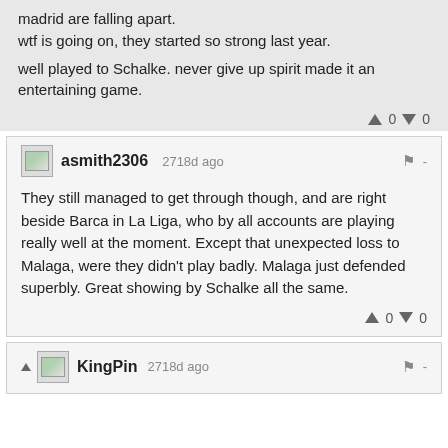madrid are falling apart.
wtf is going on, they started so strong last year.

well played to Schalke. never give up spirit made it an entertaining game.
▲ 0 ▼ 0
asmith2306  2718d ago
They still managed to get through though, and are right beside Barca in La Liga, who by all accounts are playing really well at the moment. Except that unexpected loss to Malaga, were they didn't play badly. Malaga just defended superbly. Great showing by Schalke all the same.
▲ 0 ▼ 0
KingPin  2718d ago